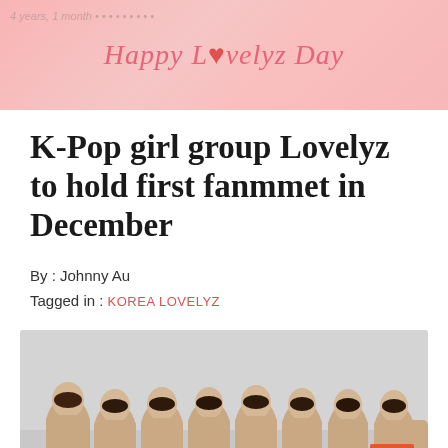[Figure (photo): Pink banner with 'Happy Lovelyz Day' text and decorative elements, celebrating Lovelyz anniversary]
K-Pop girl group Lovelyz to hold first fanmmet in December
By : Johnny Au
Tagged in : KOREA LOVELYZ
[Figure (photo): Group photo of K-Pop girl group Lovelyz, eight members posing together against a light grey background, with an orange scroll-to-top button in the bottom right corner]